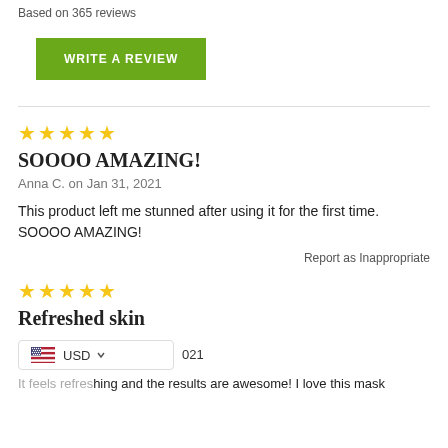Based on 365 reviews
WRITE A REVIEW
★★★★★
SOOOO AMAZING!
Anna C. on Jan 31, 2021
This product left me stunned after using it for the first time. SOOOO AMAZING!
Report as Inappropriate
★★★★★
Refreshed skin
021
It feels refreshing and the results are awesome! I love this mask